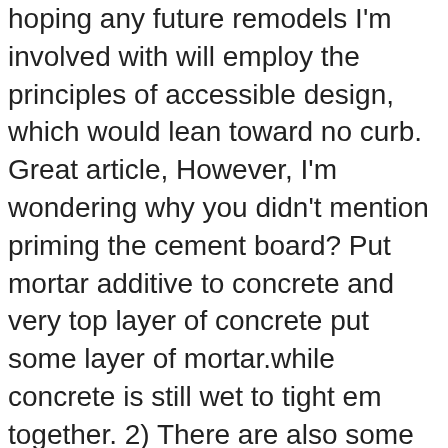hoping any future remodels I'm involved with will employ the principles of accessible design, which would lean toward no curb. Great article, However, I'm wondering why you didn't mention priming the cement board? Put mortar additive to concrete and very top layer of concrete put some layer of mortar.while concrete is still wet to tight em together. 2) There are also some specialty drains by Schluter/Kerdi and Laticrete which are made to be used with liquid membrane, i.e. December 23, 2012, 10:09 am. The walls are all painted with eggshell paint. do you silicone the drain ring down to the tiles? Look into low cost and free homeowner workshops in your area. Anyway, something to be aware of for more meticulous readers – thanks Dirk. I just got through building a shower base using the old method and this is definitely easier. http://www.lowes.com/ProductDisplay?partNumber=253149-138-420453&langId=-1&storeId=10151&productId=3133415&catalo Although I will say that good contractors aren't going to be